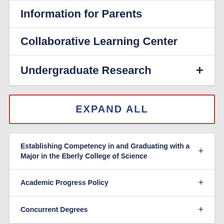Information for Parents
Collaborative Learning Center
Undergraduate Research +
EXPAND ALL
Establishing Competency in and Graduating with a Major in the Eberly College of Science +
Academic Progress Policy +
Concurrent Degrees +